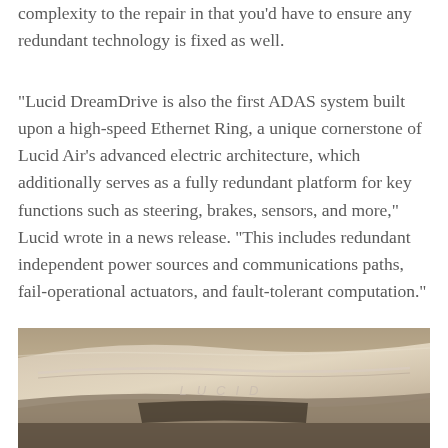complexity to the repair in that you'd have to ensure any redundant technology is fixed as well.
“Lucid DreamDrive is also the first ADAS system built upon a high-speed Ethernet Ring, a unique cornerstone of Lucid Air’s advanced electric architecture, which additionally serves as a fully redundant platform for key functions such as steering, brakes, sensors, and more,” Lucid wrote in a news release. “This includes redundant independent power sources and communications paths, fail-operational actuators, and fault-tolerant computation.”
[Figure (photo): Close-up photo of the front hood/grille area of a Lucid vehicle with the LUCID wordmark embossed in silver/chrome, sepia/dark tone]